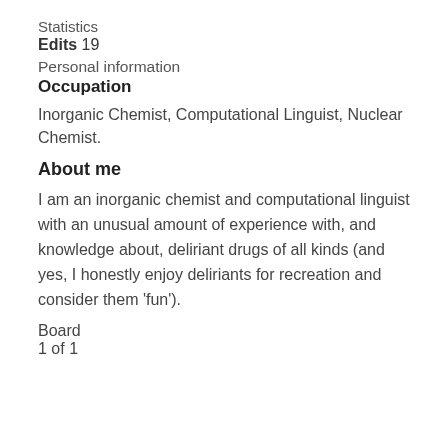Statistics
Edits 19
Personal information
Occupation
Inorganic Chemist, Computational Linguist, Nuclear Chemist.
About me
I am an inorganic chemist and computational linguist with an unusual amount of experience with, and knowledge about, deliriant drugs of all kinds (and yes, I honestly enjoy deliriants for recreation and consider them 'fun').
Board
1 of 1